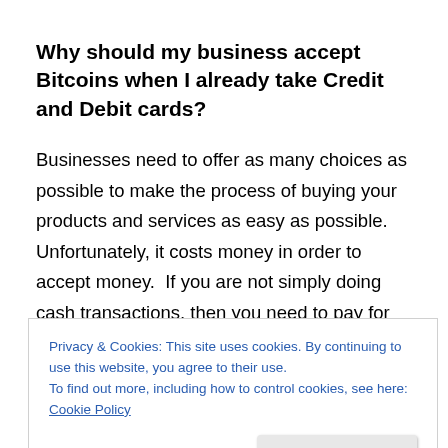Why should my business accept Bitcoins when I already take Credit and Debit cards?
Businesses need to offer as many choices as possible to make the process of buying your products and services as easy as possible.  Unfortunately, it costs money in order to accept money.  If you are not simply doing cash transactions, then you need to pay for banking fees, a Point of Sale system and the monthly fees that come
Privacy & Cookies: This site uses cookies. By continuing to use this website, you agree to their use.
To find out more, including how to control cookies, see here: Cookie Policy
and cut into your profit margins.  Bitcoin transactions can